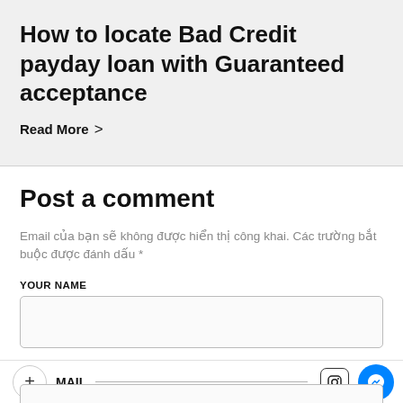How to locate Bad Credit payday loan with Guaranteed acceptance
Read More >
Post a comment
Email của bạn sẽ không được hiển thị công khai. Các trường bắt buộc được đánh dấu *
YOUR NAME
MAIL